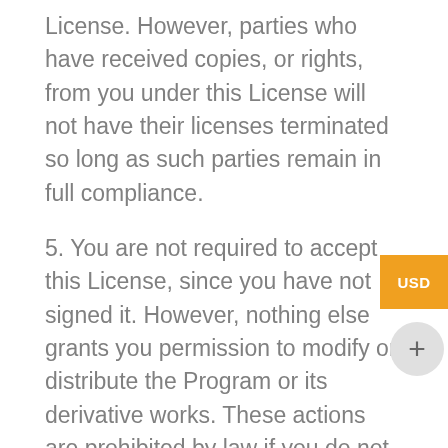License. However, parties who have received copies, or rights, from you under this License will not have their licenses terminated so long as such parties remain in full compliance.
5. You are not required to accept this License, since you have not signed it. However, nothing else grants you permission to modify or distribute the Program or its derivative works. These actions are prohibited by law if you do not accept this License. Therefore, by modifying or distributing the Program (or any work based on the Program), you indicate your acceptance of this License to do so, and all its terms and conditions for copying, distributing or modifying the Program or works based on it.
6. Each time you redistribute the Program (or